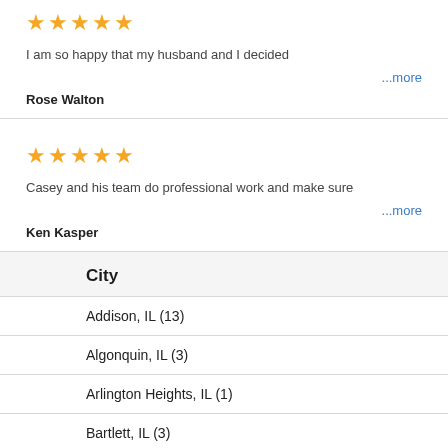[Figure (other): 5 gold stars rating]
I am so happy that my husband and I decided
...more
Rose Walton
[Figure (other): 5 gold stars rating]
Casey and his team do professional work and make sure
...more
Ken Kasper
City
Addison, IL (13)
Algonquin, IL (3)
Arlington Heights, IL (1)
Bartlett, IL (3)
Beach Park, IL (1)